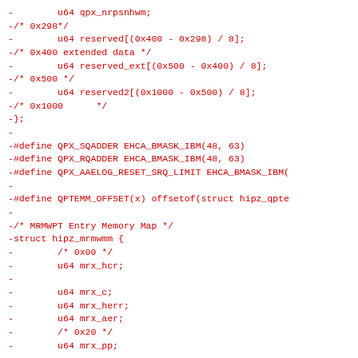Code diff showing removed lines (prefixed with -) from a C header file defining struct hipz_qptemm and related macros including QPX_SQADDER, QPX_RQADDER, QPX_AAELOG_RESET_SRQ_LIMIT, QPTEMM_OFFSET, and struct hipz_mrmwmm.